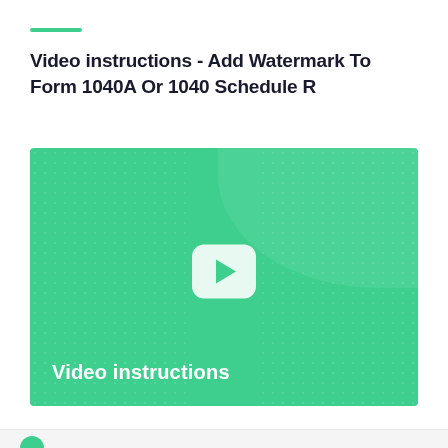Video instructions - Add Watermark To Form 1040A Or 1040 Schedule R
[Figure (other): Video thumbnail with teal/green background, play button in center, dotted texture pattern on sides, and 'Video instructions' text label at bottom left]